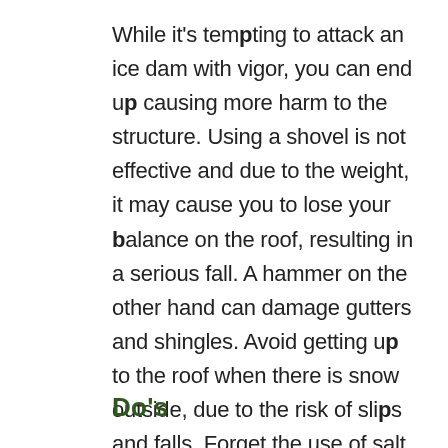While it's tempting to attack an ice dam with vigor, you can end up causing more harm to the structure. Using a shovel is not effective and due to the weight, it may cause you to lose your balance on the roof, resulting in a serious fall. A hammer on the other hand can damage gutters and shingles. Avoid getting up to the roof when there is snow outside, due to the risk of slips and falls. Forget the use of salt as may have been advised as it does not work very well, wastes salt, and can lead to damage to plants at the bottom as the ice melts.
Do's